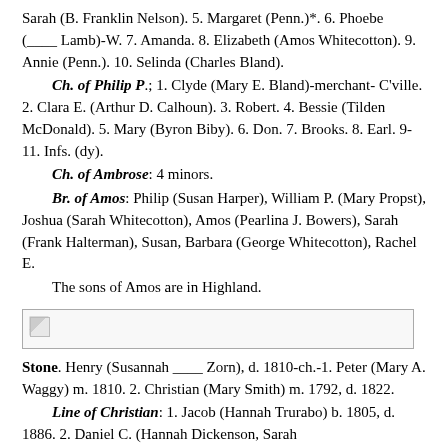Sarah (B. Franklin Nelson). 5. Margaret (Penn.)*. 6. Phoebe (____ Lamb)-W. 7. Amanda. 8. Elizabeth (Amos Whitecotton). 9. Annie (Penn.). 10. Selinda (Charles Bland).
Ch. of Philip P.; 1. Clyde (Mary E. Bland)-merchant- C'ville. 2. Clara E. (Arthur D. Calhoun). 3. Robert. 4. Bessie (Tilden McDonald). 5. Mary (Byron Biby). 6. Don. 7. Brooks. 8. Earl. 9-11. Infs. (dy).
Ch. of Ambrose: 4 minors.
Br. of Amos: Philip (Susan Harper), William P. (Mary Propst), Joshua (Sarah Whitecotton), Amos (Pearlina J. Bowers), Sarah (Frank Halterman), Susan, Barbara (George Whitecotton), Rachel E.
The sons of Amos are in Highland.
[Figure (other): Broken/missing image placeholder]
Stone. Henry (Susannah ____ Zorn), d. 1810-ch.-1. Peter (Mary A. Waggy) m. 1810. 2. Christian (Mary Smith) m. 1792, d. 1822.
Line of Christian: 1. Jacob (Hannah Trurabo) b. 1805, d. 1886. 2. Daniel C. (Hannah Dickenson, Sarah